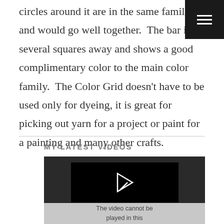circles around it are in the same family and would go well together.  The bar is several squares away and shows a good complimentary color to the main color family.  The Color Grid doesn't have to be used only for dyeing, it is great for picking out yarn for a project or paint for a painting and many other crafts.
MY LATEST VIDEOS
[Figure (screenshot): Video player placeholder showing a play button icon on black background, with a gray message bar below reading 'The video cannot be played in this']